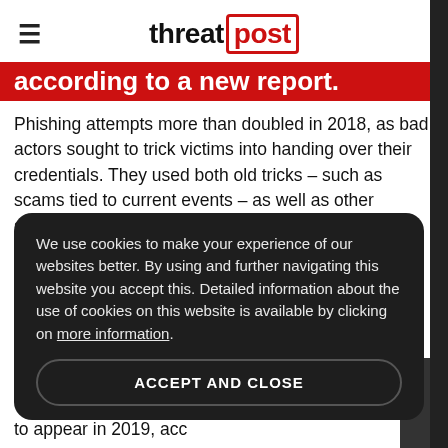threatpost
according to a new report.
Phishing attempts more than doubled in 2018, as bad actors sought to trick victims into handing over their credentials. They used both old tricks – such as scams tied to current events – as well as other stealthy, fresher tactics.
Researchers with Kaspersky Lab said in a Tuesday report that during the course of 2018, they detected
We use cookies to make your experience of our websites better. By using and further navigating this website you accept this. Detailed information about the use of cookies on this website is available by clicking on more information.
ACCEPT AND CLOSE
to appear in 2019, acc